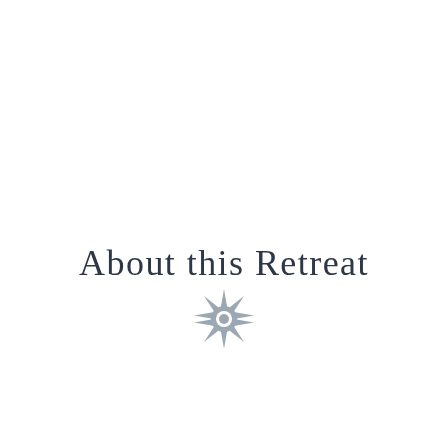About this Retreat
[Figure (illustration): A sun/starburst icon in gray, with a circular center and eight pointed rays, positioned below the title text.]